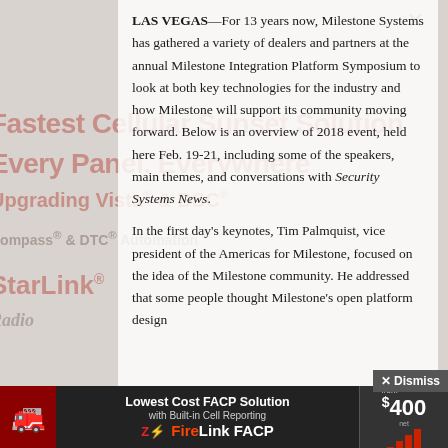LAS VEGAS—For 13 years now, Milestone Systems has gathered a variety of dealers and partners at the annual Milestone Integration Platform Symposium to look at both key technologies for the industry and how Milestone will support its community moving forward. Below is an overview of 2018 event, held here Feb. 19-21, including some of the speakers, main themes, and conversations with Security Systems News.
In the first day's keynotes, Tim Palmquist, vice president of the Americas for Milestone, focused on the idea of the Milestone community. He addressed that some people thought Milestone's open platform design
[Figure (advertisement): Bottom banner advertisement: Lowest Cost FACP Solution with Built-in Cell Reporting — FireLink FACP. FACP w/Cell from $400.]